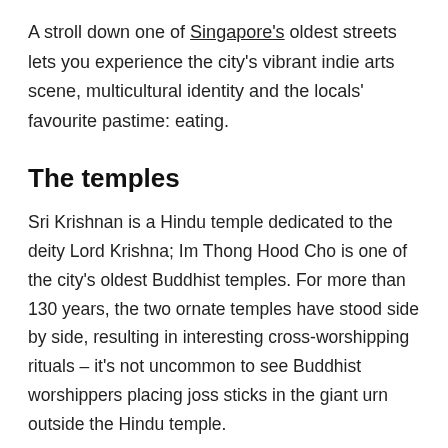A stroll down one of Singapore's oldest streets lets you experience the city's vibrant indie arts scene, multicultural identity and the locals' favourite pastime: eating.
The temples
Sri Krishnan is a Hindu temple dedicated to the deity Lord Krishna; Im Thong Hood Cho is one of the city's oldest Buddhist temples. For more than 130 years, the two ornate temples have stood side by side, resulting in interesting cross-worshipping rituals – it's not uncommon to see Buddhist worshippers placing joss sticks in the giant urn outside the Hindu temple.